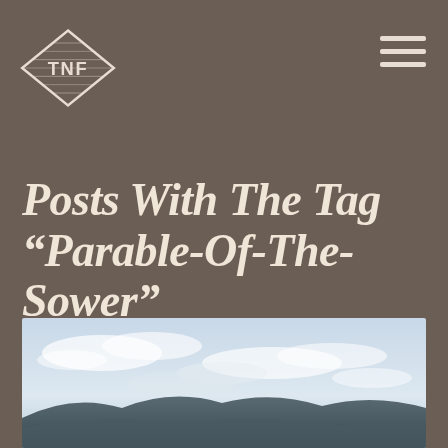[Figure (logo): TNF diamond-shaped logo with wood grain texture and letters TNF]
Posts With The Tag “Parable-Of-The-Sower”
[Figure (photo): Landscape photo showing sky with clouds and mountains at the bottom edge]